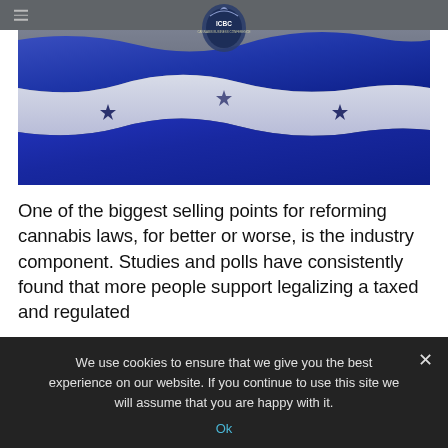[Figure (photo): A waving flag with blue and white horizontal stripes and dark blue stars — resembling the Honduras flag — with a grey navigation bar at the top containing a hamburger menu icon on the left and the ICBC logo centered at the top.]
One of the biggest selling points for reforming cannabis laws, for better or worse, is the industry component. Studies and polls have consistently found that more people support legalizing a taxed and regulated
We use cookies to ensure that we give you the best experience on our website. If you continue to use this site we will assume that you are happy with it.
Ok